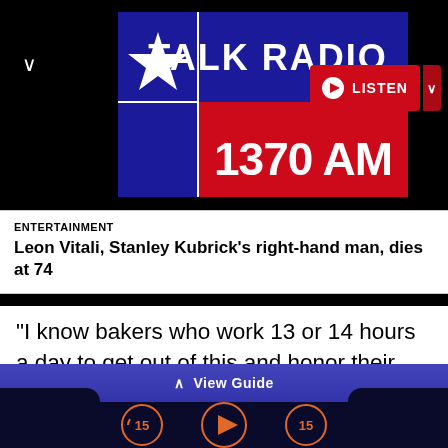[Figure (logo): Talk Radio 1370 AM logo with Texas flag star on blue/red background]
[Figure (screenshot): Listen button in red with play icon]
ENTERTAINMENT
Leon Vitali, Stanley Kubrick's right-hand man, dies at 74
“I know bakers who work 13 or 14 hours a day to get out of this and honor their loans,” Albert Denoncin, president of the French-speaking bakery federation, told La Premiere radio. “We can do it for a while, but when I hear from the World
View Guide
[Figure (screenshot): Audio player controls: rewind 15, play, forward 15 buttons in orange circles]